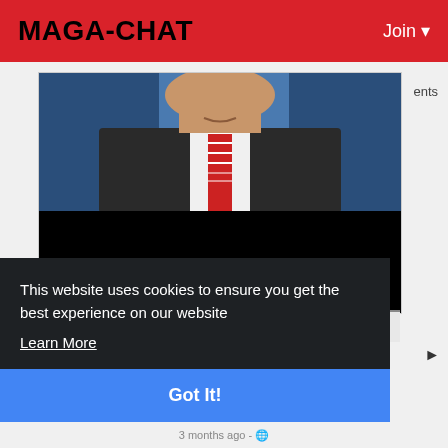MAGA-CHAT   Join ▼
[Figure (photo): Photo of a man in a dark suit with a red striped tie, speaking, blue background, partially cropped at chin/neck, with a black lower portion]
ents
This website uses cookies to ensure you get the best experience on our website
Learn More
Got It!
3 months ago - 🌐